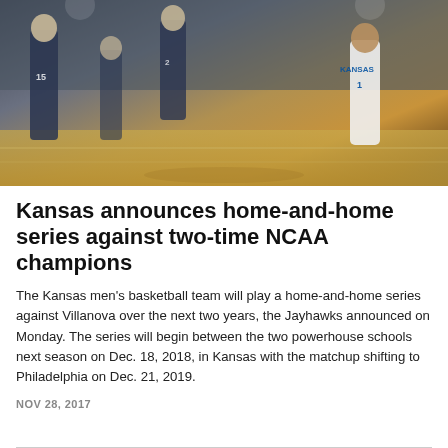[Figure (photo): Basketball action photo showing Kansas player in white uniform dribbling past Villanova players in dark uniforms during an NCAA game]
Kansas announces home-and-home series against two-time NCAA champions
The Kansas men's basketball team will play a home-and-home series against Villanova over the next two years, the Jayhawks announced on Monday. The series will begin between the two powerhouse schools next season on Dec. 18, 2018, in Kansas with the matchup shifting to Philadelphia on Dec. 21, 2019.
NOV 28, 2017